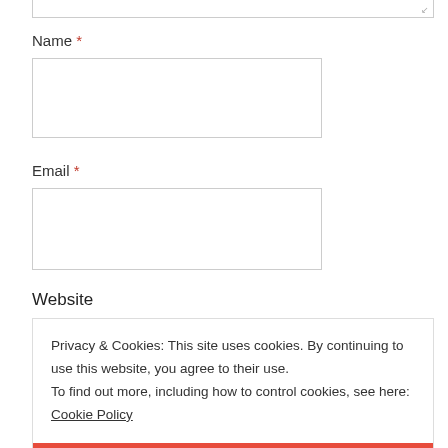Name *
[Figure (other): Empty text input field for Name]
Email *
[Figure (other): Empty text input field for Email]
Website
Privacy & Cookies: This site uses cookies. By continuing to use this website, you agree to their use. To find out more, including how to control cookies, see here: Cookie Policy
CLOSE AND ACCEPT